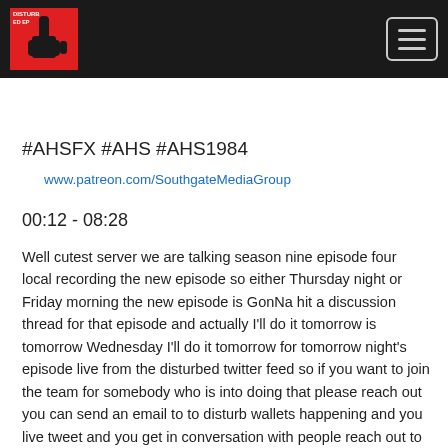[Figure (logo): Disturbed EP podcast logo - red background with hand holding middle finger up, white text 'DISTURBED EP']
www.patreon.com/SouthgateMediaGroup
#AHSFX #AHS #AHS1984
00:12 - 08:28
Well cutest server we are talking season nine episode four local recording the new episode so either Thursday night or Friday morning the new episode is GonNa hit a discussion thread for that episode and actually I'll do it tomorrow is tomorrow Wednesday I'll do it tomorrow for tomorrow night's episode live from the disturbed twitter feed so if you want to join the team for somebody who is into doing that please reach out you can send an email to to disturb wallets happening and you live tweet and you get in conversation with people reach out to us because Chris and I cannot do that but we would love to have somebody live tweet pod at Gmail dot com or you can send it to southgate media group at gmail.com that might actually be a better place or right in the threat Oh